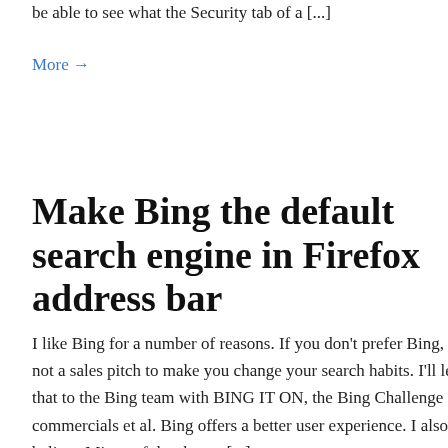be able to see what the Security tab of a [...]
More →
Sel
Som
firmb
Mor
Make Bing the default search engine in Firefox address bar
I like Bing for a number of reasons. If you don't prefer Bing, this is not a sales pitch to make you change your search habits. I'll leave that to the Bing team with BING IT ON, the Bing Challenge commercials et al. Bing offers a better user experience. I also believe Microsoft has better [...]
More →
Wi
Inf
Ye
Win
Tech
have
Pow
man
is de
engi